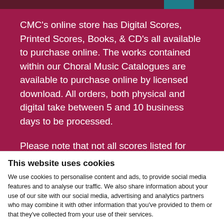CMC's online store has Digital Scores, Printed Scores, Books, & CD's all available to purchase online. The works contained within our Choral Music Catalogues are available to purchase online by licensed download. All orders, both physical and digital take between 5 and 10 business days to be processed.
Please note that not all scores listed for sale have parts.  Should you require parts
This website uses cookies
We use cookies to personalise content and ads, to provide social media features and to analyse our traffic. We also share information about your use of our site with our social media, advertising and analytics partners who may combine it with other information that you've provided to them or that they've collected from your use of their services.
Allow all cookies